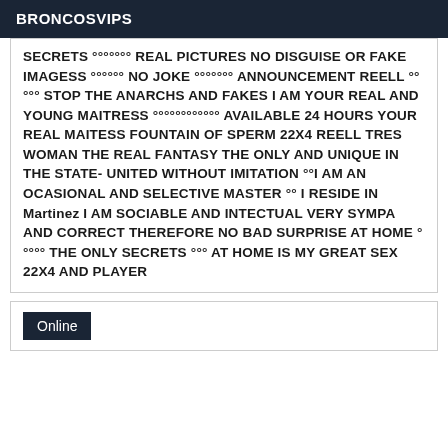BRONCOSVIPS
SECRETS °°°°°°° REAL PICTURES NO DISGUISE OR FAKE IMAGESS °°°°°° NO JOKE °°°°°°° ANNOUNCEMENT REELL °°°°° STOP THE ANARCHS AND FAKES I AM YOUR REAL AND YOUNG MAITRESS °°°°°°°°°°°° AVAILABLE 24 HOURS YOUR REAL MAITESS FOUNTAIN OF SPERM 22X4 REELL TRES WOMAN THE REAL FANTASY THE ONLY AND UNIQUE IN THE STATE- UNITED WITHOUT IMITATION °°I AM AN OCASIONAL AND SELECTIVE MASTER °° I RESIDE IN Martinez I AM SOCIABLE AND INTECTUAL VERY SYMPA AND CORRECT THEREFORE NO BAD SURPRISE AT HOME °°°°° THE ONLY SECRETS °°° AT HOME IS MY GREAT SEX 22X4 AND PLAYER
Online